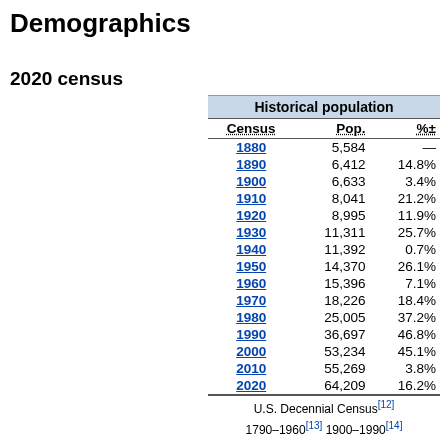Demographics
2020 census
| Census | Pop. | %± |
| --- | --- | --- |
| 1880 | 5,584 | — |
| 1890 | 6,412 | 14.8% |
| 1900 | 6,633 | 3.4% |
| 1910 | 8,041 | 21.2% |
| 1920 | 8,995 | 11.9% |
| 1930 | 11,311 | 25.7% |
| 1940 | 11,392 | 0.7% |
| 1950 | 14,370 | 26.1% |
| 1960 | 15,396 | 7.1% |
| 1970 | 18,226 | 18.4% |
| 1980 | 25,005 | 37.2% |
| 1990 | 36,697 | 46.8% |
| 2000 | 53,234 | 45.1% |
| 2010 | 55,269 | 3.8% |
| 2020 | 64,209 | 16.2% |